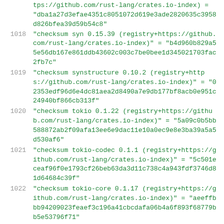tps://github.com/rust-lang/crates.io-index) = "dba1a27d3efae4351c8051072d619e3ade2820635c3958d826bfea39d59b54c8"
1018  "checksum syn 0.15.39 (registry+https://github.com/rust-lang/crates.io-index)" = "b4d960b829a55e56db167e861ddb43602c003c7be0bee1d345021703fac2fb7c"
1019  "checksum synstructure 0.10.2 (registry+https://github.com/rust-lang/crates.io-index)" = "02353edf96d6e4dc81aea2d8490a7e9db177bf8acb0e951c24940bf866cb313f"
1020  "checksum tokio 0.1.22 (registry+https://github.com/rust-lang/crates.io-index)" = "5a09c0b5bb588872ab2f09afa13ee6e9dac11e10a0ec9e8e3ba39a5a5d530af6"
1021  "checksum tokio-codec 0.1.1 (registry+https://github.com/rust-lang/crates.io-index)" = "5c501eceaf96f0e1793cf26beb63da3d11c738c4a943fdf3746d81d64684c39f"
1022  "checksum tokio-core 0.1.17 (registry+https://github.com/rust-lang/crates.io-index)" = "aeeffbbb94209023feaef3c196a41cbcdafa06b4a6f893f68779bb5e53796f71"